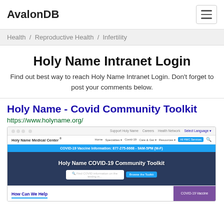AvalonDB
Health / Reproductive Health / Infertility
Holy Name Intranet Login
Find out best way to reach Holy Name Intranet Login. Don't forget to post your comments below.
Holy Name - Covid Community Toolkit
https://www.holyname.org/
[Figure (screenshot): Screenshot of Holy Name Medical Center website showing COVID-19 Community Toolkit page with navigation bar, blue COVID-19 vaccine information banner, hero image with toolkit title, search box, and 'How Can We Help' section at bottom.]